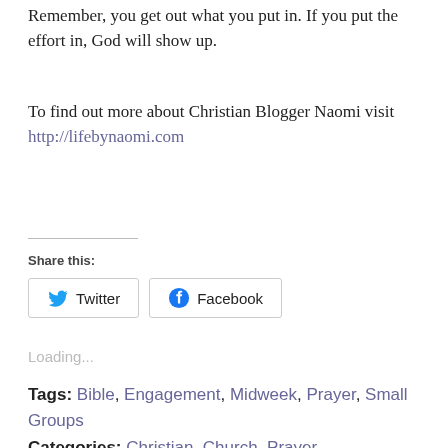Remember, you get out what you put in. If you put the effort in, God will show up.
To find out more about Christian Blogger Naomi visit http://lifebynaomi.com
Share this:
Twitter  Facebook
Loading...
Tags: Bible, Engagement, Midweek, Prayer, Small Groups
Categories: Christian, Church, Prayer, Uncategorized